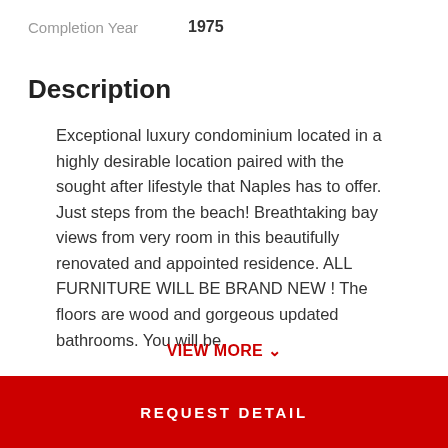Completion Year    1975
Description
Exceptional luxury condominium located in a highly desirable location paired with the sought after lifestyle that Naples has to offer. Just steps from the beach! Breathtaking bay views from very room in this beautifully renovated and appointed residence. ALL FURNITURE WILL BE BRAND NEW ! The floors are wood and gorgeous updated bathrooms. You will be
VIEW MORE
REQUEST DETAIL